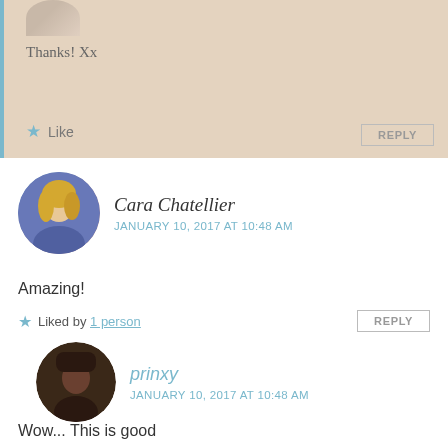Thanks! Xx
★ Like   REPLY
Cara Chatellier
JANUARY 10, 2017 AT 10:48 AM
Amazing!
★ Liked by 1 person   REPLY
prinxy
JANUARY 10, 2017 AT 10:48 AM
Wow... This is good